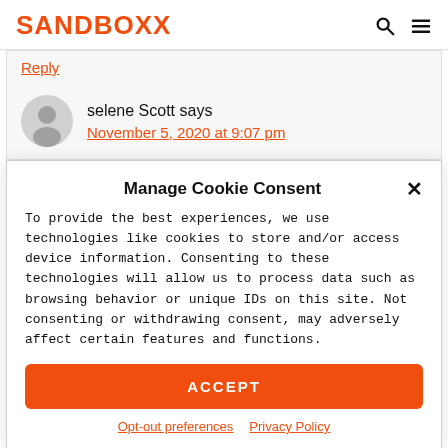SANDBOXX
Reply
selene Scott says
November 5, 2020 at 9:07 pm
Manage Cookie Consent
To provide the best experiences, we use technologies like cookies to store and/or access device information. Consenting to these technologies will allow us to process data such as browsing behavior or unique IDs on this site. Not consenting or withdrawing consent, may adversely affect certain features and functions.
ACCEPT
Opt-out preferences   Privacy Policy